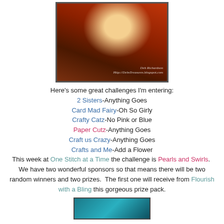[Figure (photo): A craft card featuring an Indian woman figure in red sari with decorative brown flower and swirls/scrolls, dark pearls, on a red and brown patterned background. Watermark reads 'Deb Richardson Http://DebsTreasures.blogspot.com']
Here's some great challenges I'm entering:
2 Sisters-Anything Goes
Card Mad Fairy-Oh So Girly
Crafty Catz-No Pink or Blue
Paper Cutz-Anything Goes
Craft us Crazy-Anything Goes
Crafts and Me-Add a Flower
This week at One Stitch at a Time the challenge is Pearls and Swirls.  We have two wonderful sponsors so that means there will be two random winners and two prizes.  The first one will receive from Flourish with a Bling this gorgeous prize pack.
[Figure (photo): Partial image of a prize pack on teal/turquoise background, cut off at bottom of page]